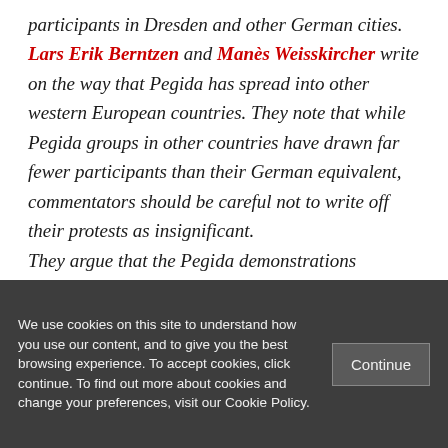participants in Dresden and other German cities. Lars Erik Berntzen and Manès Weisskircher write on the way that Pegida has spread into other western European countries. They note that while Pegida groups in other countries have drawn far fewer participants than their German equivalent, commentators should be careful not to write off their protests as insignificant. They argue that the Pegida demonstrations
We use cookies on this site to understand how you use our content, and to give you the best browsing experience. To accept cookies, click continue. To find out more about cookies and change your preferences, visit our Cookie Policy.